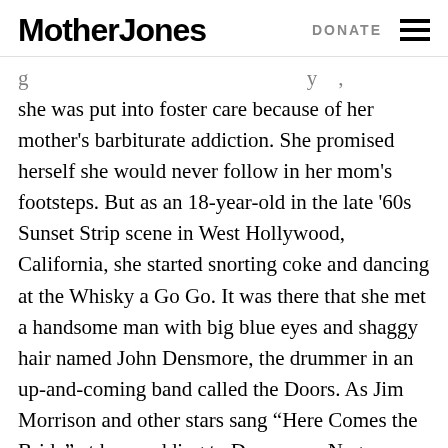Mother Jones | DONATE
she was put into foster care because of her mother's barbiturate addiction. She promised herself she would never follow in her mom's footsteps. But as an 18-year-old in the late '60s Sunset Strip scene in West Hollywood, California, she started snorting coke and dancing at the Whisky a Go Go. It was there that she met a handsome man with big blue eyes and shaggy hair named John Densmore, the drummer in an up-and-coming band called the Doors. As Jim Morrison and other stars sang “Here Comes the Bride” at her wedding to Densmore, Negron thought to herself, “How could anything possibly go wrong?”